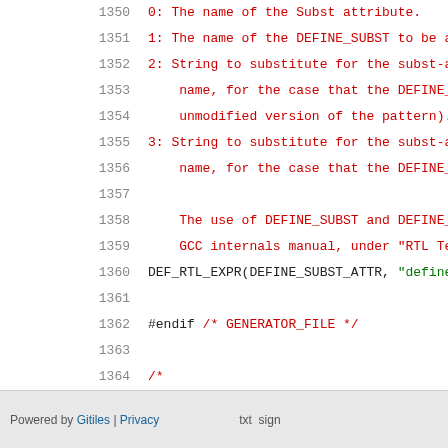Source code viewer showing lines 1350-1368 of a C source file with RTL template definitions
Powered by Gitiles | Privacy ... txt  ...